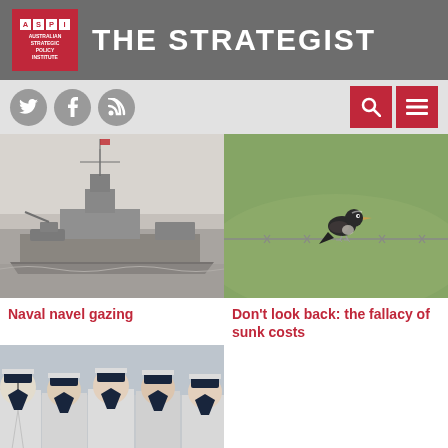THE STRATEGIST — Australian Strategic Policy Institute
[Figure (screenshot): ASPI logo with red background and white text: A S P I, Australian Strategic Policy Institute]
THE STRATEGIST
[Figure (photo): Social media icons: Twitter (bird), Facebook (f), RSS feed]
[Figure (photo): Black and white photograph of a naval warship at sea]
Naval navel gazing
[Figure (photo): Color photograph of a small bird perched on a barbed wire fence in a field]
Don't look back: the fallacy of sunk costs
[Figure (photo): Color photograph of a row of navy sailors in white dress uniforms and hats]
What's the best kind of Navy